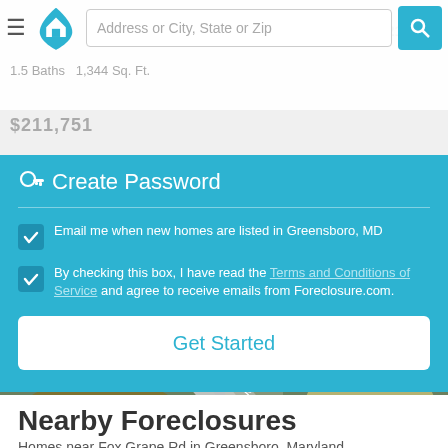[Figure (screenshot): Mobile website top navigation bar with hamburger menu, home logo, address/city/state/zip search input, and blue search button]
Get Complete Address Greensboro, MD 21639
1.5 Baths  1,344 Sq. Ft.
$211,751
Create Password
Email me when new homes are listed in Greensboro, MD
By checking this box, I have read the Terms and Conditions of Service and agree to receive emails from Foreclosure.com.
Get Started
Status: Active    Listing ID: 57737403
Nearby Foreclosures
Homes near Fox Grape Rd in Greensboro, Maryland
[Figure (map): Aerial/satellite map view showing intersection of N School St and another road near Cedar Lane Park in Greensboro, Maryland]